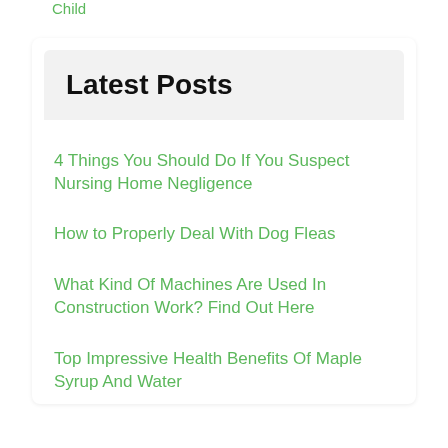Child
Latest Posts
4 Things You Should Do If You Suspect Nursing Home Negligence
How to Properly Deal With Dog Fleas
What Kind Of Machines Are Used In Construction Work? Find Out Here
Top Impressive Health Benefits Of Maple Syrup And Water